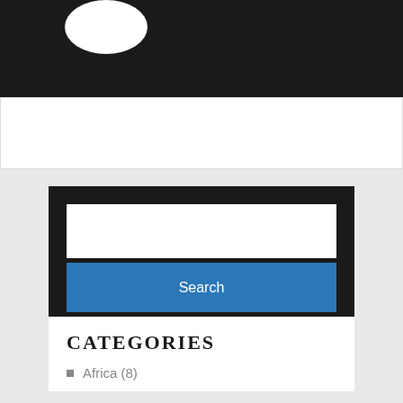[Figure (screenshot): Dark header bar with partial white circular avatar/logo at top left]
[Figure (screenshot): White content bar below dark header]
[Figure (screenshot): Search widget with dark background containing a white input field and a blue Search button]
CATEGORIES
Africa (8)